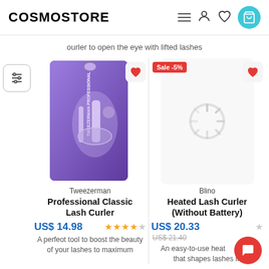COSMOSTORE
ourler to open the eye with lifted lashes
[Figure (screenshot): Tweezerman Professional Classic Lash Curler product image in purple packaging]
Tweezerman
Professional Classic Lash Curler
US$ 14.98
A perfeot tool to boost the beauty of your lashes to maximum
[Figure (other): Blino Heated Lash Curler product image loading (spinner shown), with Sale -5% badge]
Blino
Heated Lash Curler (Without Battery)
US$ 20.33
US$ 21.40
An easy-to-use heated lash curler that shapes lashes in